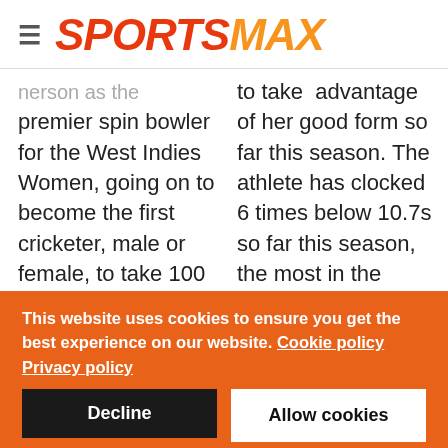≡ SPORTSMAX
...nerson as the premier spin bowler for the West Indies Women, going on to become the first cricketer, male or female, to take 100 T20I wickets ...
to take advantage of her good form so far this season. The athlete has clocked 6 times below 10.7s so far this season, the most in the event's history
This website uses cookies to ensure you get the best experience on our website. Cookie policy Privacy policy
Decline
Allow cookies